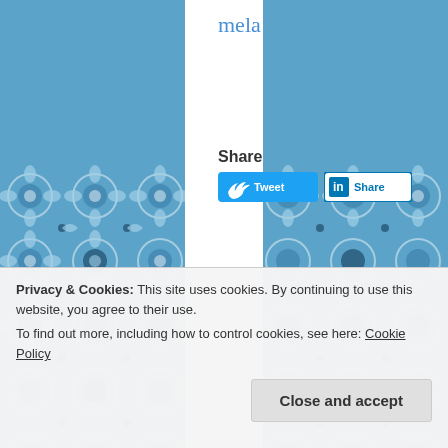[Figure (illustration): Blue decorative tile pattern on left and right side panels]
mela
Share
[Figure (screenshot): Tweet button (Twitter) and Share button (LinkedIn)]
[Figure (screenshot): Facebook Like 11 button and Share button]
[Figure (screenshot): Pinterest Pin it button]
Privacy & Cookies: This site uses cookies. By continuing to use this website, you agree to their use.
To find out more, including how to control cookies, see here: Cookie Policy
Close and accept